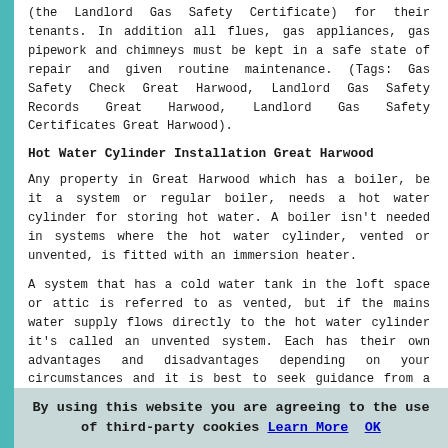(the Landlord Gas Safety Certificate) for their tenants. In addition all flues, gas appliances, gas pipework and chimneys must be kept in a safe state of repair and given routine maintenance. (Tags: Gas Safety Check Great Harwood, Landlord Gas Safety Records Great Harwood, Landlord Gas Safety Certificates Great Harwood).
Hot Water Cylinder Installation Great Harwood
Any property in Great Harwood which has a boiler, be it a system or regular boiler, needs a hot water cylinder for storing hot water. A boiler isn't needed in systems where the hot water cylinder, vented or unvented, is fitted with an immersion heater.
A system that has a cold water tank in the loft space or attic is referred to as vented, but if the mains water supply flows directly to the hot water cylinder it's called an unvented system. Each has their own advantages and disadvantages depending on your circumstances and it is best to seek guidance from a plumber or heating professional in Great Harwood to ascertain the best system for you.
A hot water cylinder installation must be carried...
By using this website you are agreeing to the use of third-party cookies Learn More OK